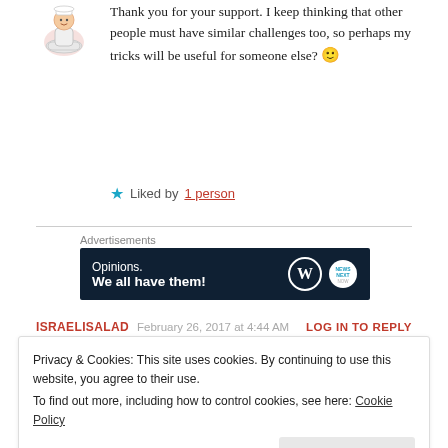[Figure (illustration): Small cartoon avatar of a person in a bowl/chef illustration]
Thank you for your support. I keep thinking that other people must have similar challenges too, so perhaps my tricks will be useful for someone else? 🙂
★ Liked by 1 person
Advertisements
[Figure (other): WordPress advertisement banner: 'Opinions. We all have them!' with WordPress and blog logo icons on dark navy background]
ISRAELISALAD  February 26, 2017 at 4:44 AM  LOG IN TO REPLY
Privacy & Cookies: This site uses cookies. By continuing to use this website, you agree to their use. To find out more, including how to control cookies, see here: Cookie Policy
Close and accept